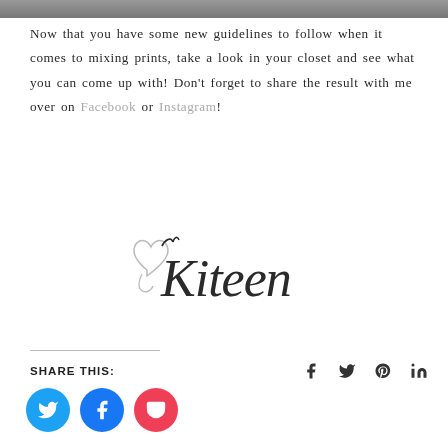[Figure (photo): Top partial image strip showing a textured gray background]
Now that you have some new guidelines to follow when it comes to mixing prints, take a look in your closet and see what you can come up with! Don't forget to share the result with me over on Facebook or Instagram!
[Figure (illustration): Handwritten cursive signature reading 'Kiteen' with a decorative heart to the left]
Share this:
[Figure (other): Social share buttons: Twitter (blue circle), Facebook (blue circle), Pocket (red circle), and social icons for Facebook, Twitter, Pinterest, LinkedIn on the right]